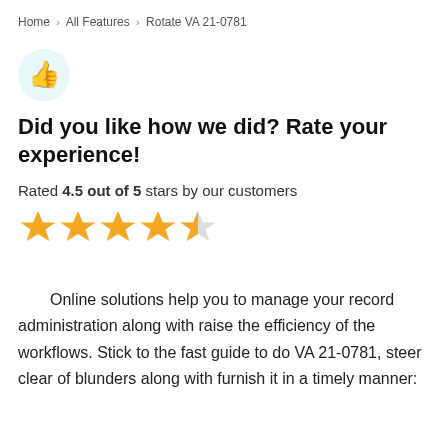Home › All Features › Rotate VA 21-0781
[Figure (illustration): Thumbs up icon inside a light teal circle]
Did you like how we did? Rate your experience!
Rated 4.5 out of 5 stars by our customers
[Figure (infographic): 4.5 out of 5 gold stars rating display — four full stars and one half star]
Online solutions help you to manage your record administration along with raise the efficiency of the workflows. Stick to the fast guide to do VA 21-0781, steer clear of blunders along with furnish it in a timely manner: